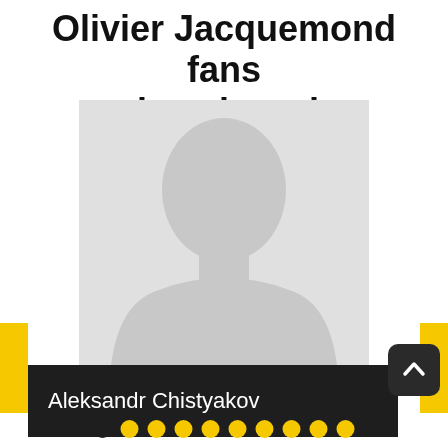Olivier Jacquemond fans also viewed:
[Figure (illustration): Generic gray silhouette placeholder image of a person (head and shoulders)]
Aleksandr Chistyakov